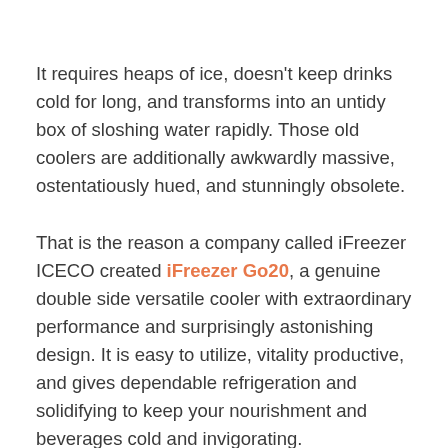It requires heaps of ice, doesn't keep drinks cold for long, and transforms into an untidy box of sloshing water rapidly. Those old coolers are additionally awkwardly massive, ostentatiously hued, and stunningly obsolete.
That is the reason a company called iFreezer ICECO created iFreezer Go20, a genuine double side versatile cooler with extraordinary performance and surprisingly astonishing design. It is easy to utilize, vitality productive, and gives dependable refrigeration and solidifying to keep your nourishment and beverages cold and invigorating.